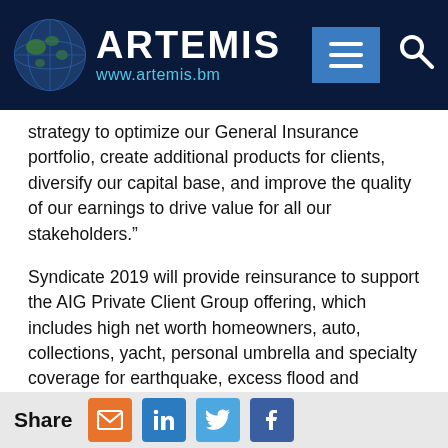ARTEMIS www.artemis.bm
strategy to optimize our General Insurance portfolio, create additional products for clients, diversify our capital base, and improve the quality of our earnings to drive value for all our stakeholders.”
Syndicate 2019 will provide reinsurance to support the AIG Private Client Group offering, which includes high net worth homeowners, auto, collections, yacht, personal umbrella and specialty coverage for earthquake, excess flood and workers compensation insurance coverages.
It’s likely the syndicate will enter into a quota share reinsurance arrangement with the AIG Private Client Group book to source its risks to begin at least.
In the reinsurance market, the Private Client Group risks are more typically ceded as part of the overall reinsurance
Share